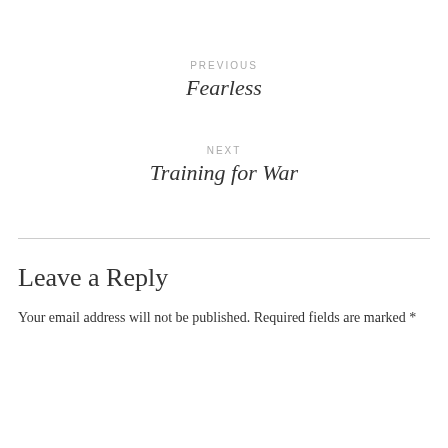PREVIOUS
Fearless
NEXT
Training for War
Leave a Reply
Your email address will not be published. Required fields are marked *